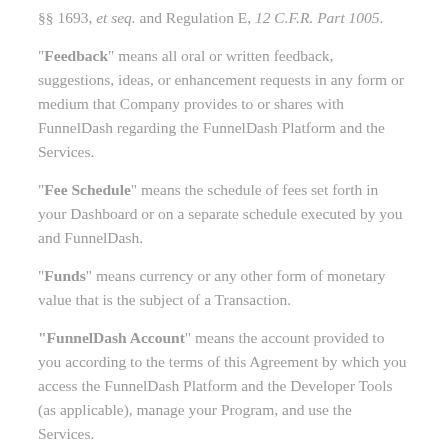§§ 1693, et seq. and Regulation E, 12 C.F.R. Part 1005.
"Feedback" means all oral or written feedback, suggestions, ideas, or enhancement requests in any form or medium that Company provides to or shares with FunnelDash regarding the FunnelDash Platform and the Services.
"Fee Schedule" means the schedule of fees set forth in your Dashboard or on a separate schedule executed by you and FunnelDash.
"Funds" means currency or any other form of monetary value that is the subject of a Transaction.
"FunnelDash Account" means the account provided to you according to the terms of this Agreement by which you access the FunnelDash Platform and the Developer Tools (as applicable), manage your Program, and use the Services.
"FunnelDash Materials" means the FunnelDash Platform, Developer Tools (as applicable), the FunnelDash Platform and related tools, documentation of how it works,